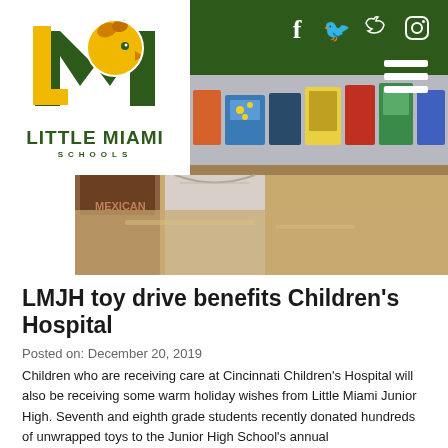[Figure (logo): Little Miami Schools logo — stylized LM letters with a golden eagle head, and text 'LITTLE MIAMI SCHOOLS' below, in a white box]
[Figure (photo): Photo of donated toys and items lined up on a counter/table, with colorful boxes and wrapped items visible]
LMJH toy drive benefits Children's Hospital
Posted on: December 20, 2019
Children who are receiving care at Cincinnati Children's Hospital will also be receiving some warm holiday wishes from Little Miami Junior High. Seventh and eighth grade students recently donated hundreds of unwrapped toys to the Junior High School's annual